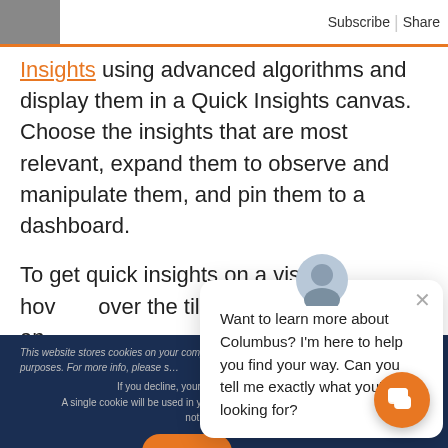Subscribe  |  Share
Insights using advanced algorithms and display them in a Quick Insights canvas. Choose the insights that are most relevant, expand them to observe and manipulate them, and pin them to a dashboard.

To get quick insights on a visual, hover over the tile in your dashboard and
This website stores cookies on... user experience and for analytics... please s...
If you decline, your information w... A single cookie will be used in y... not to be tracked.
[Figure (screenshot): Chat popup with avatar photo of a person, close button (×), and text: Want to learn more about Columbus? I'm here to help you find your way. Can you tell me exactly what you're looking for?]
[Figure (illustration): Orange rounded OK button and grey Decline text button at the bottom of the cookie consent bar. Orange circular chat float button at bottom right.]